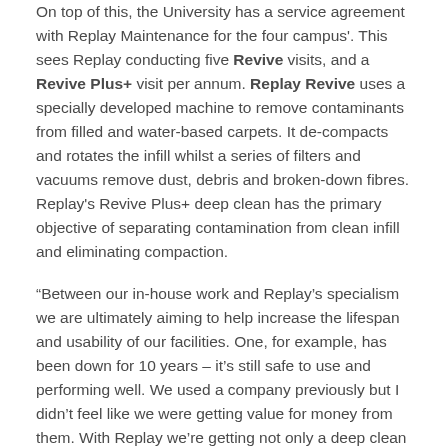On top of this, the University has a service agreement with Replay Maintenance for the four campus'. This sees Replay conducting five Revive visits, and a Revive Plus+ visit per annum. Replay Revive uses a specially developed machine to remove contaminants from filled and water-based carpets. It de-compacts and rotates the infill whilst a series of filters and vacuums remove dust, debris and broken-down fibres. Replay's Revive Plus+ deep clean has the primary objective of separating contamination from clean infill and eliminating compaction.
“Between our in-house work and Replay’s specialism we are ultimately aiming to help increase the lifespan and usability of our facilities. One, for example, has been down for 10 years – it’s still safe to use and performing well. We used a company previously but I didn’t feel like we were getting value for money from them. With Replay we’re getting not only a deep clean on a regular basis, but the expertise and advice we need to keep our surfaces in